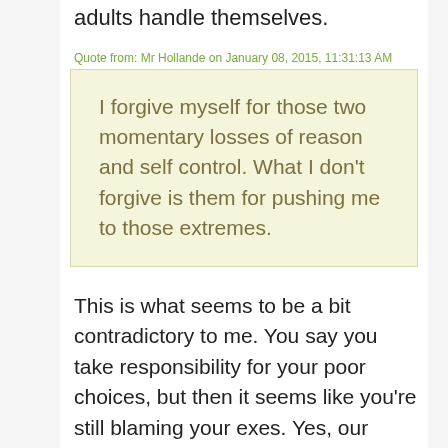adults handle themselves.
Quote from: Mr Hollande on January 08, 2015, 11:31:13 AM
I forgive myself for those two momentary losses of reason and self control. What I don't forgive is them for pushing me to those extremes.
This is what seems to be a bit contradictory to me. You say you take responsibility for your poor choices, but then it seems like you're still blaming your exes. Yes, our exes did things to hurt us. We allowed ourselves to be pushed.